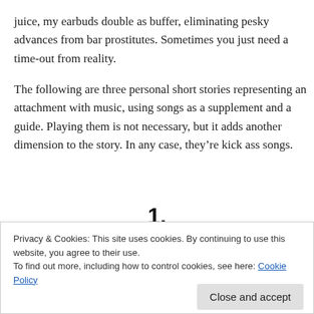juice, my earbuds double as buffer, eliminating pesky advances from bar prostitutes.  Sometimes you just need a time-out from reality.
The following are three personal short stories representing an attachment with music, using songs as a supplement and a guide.  Playing them is not necessary, but it adds another dimension to the story.  In any case, they’re kick ass songs.
1.
Privacy & Cookies: This site uses cookies. By continuing to use this website, you agree to their use.
To find out more, including how to control cookies, see here: Cookie Policy
Close and accept